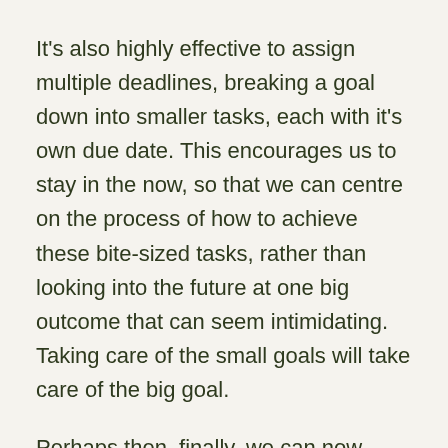It's also highly effective to assign multiple deadlines, breaking a goal down into smaller tasks, each with it's own due date. This encourages us to stay in the now, so that we can centre on the process of how to achieve these bite-sized tasks, rather than looking into the future at one big outcome that can seem intimidating. Taking care of the small goals will take care of the big goal.
Perhaps then, finally, we can now proclaim our S.M.A.R.T. New Year resolutions to all, confident in the knowledge that this time we